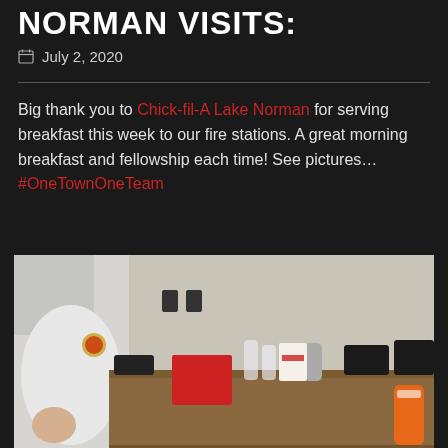NORMAN VISITS:
July 2, 2020
Big thank you to Chick-fil-A Lake Norman for serving breakfast this week to our fire stations. A great morning breakfast and fellowship each time! See pictures… #OneTownOneTeam
[Figure (photo): A person in a white t-shirt with a fire department logo standing beside a dining table with Chick-fil-A bags, cups, water bottles, and a GNC shaker bottle on it, inside what appears to be a fire station kitchen/dining room.]